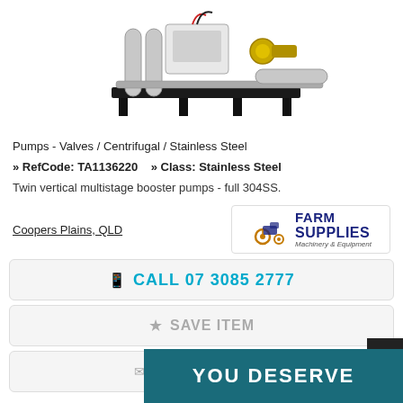[Figure (photo): Industrial twin vertical multistage booster pump unit on a black frame with stainless steel components, motor and brass fittings.]
Pumps - Valves / Centrifugal / Stainless Steel
» RefCode: TA1136220    » Class: Stainless Steel
Twin vertical multistage booster pumps - full 304SS.
Coopers Plains, QLD
[Figure (logo): Farm Supplies Machinery & Equipment logo with tractor icon]
CALL 07 3085 2777
SAVE ITEM
EMAIL SELLER
YOU DESERVE